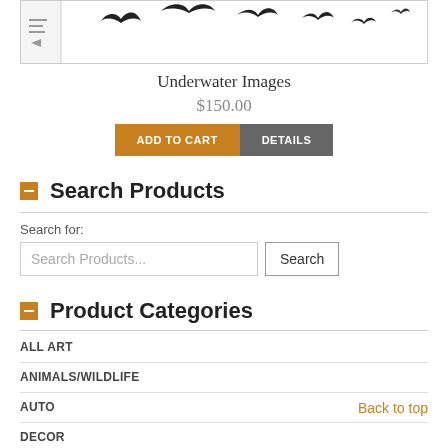[Figure (illustration): Partial view of a product image showing silhouette birds/flying creatures on white background with some interface elements on the left side]
Underwater Images
$150.00
ADD TO CART   DETAILS
Search Products
Search for:
Search Products...
Product Categories
ALL ART
ANIMALS/WILDLIFE
AUTO
Back to top
DECOR